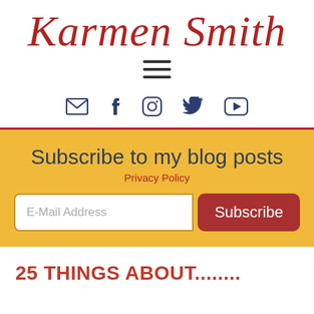Karmen Smith
[Figure (other): Hamburger menu icon (three horizontal lines)]
[Figure (other): Social media icons row: email/envelope, Facebook, Instagram, Twitter, YouTube]
Subscribe to my blog posts
Privacy Policy
E-Mail Address
Subscribe
25 THINGS ABOUT........